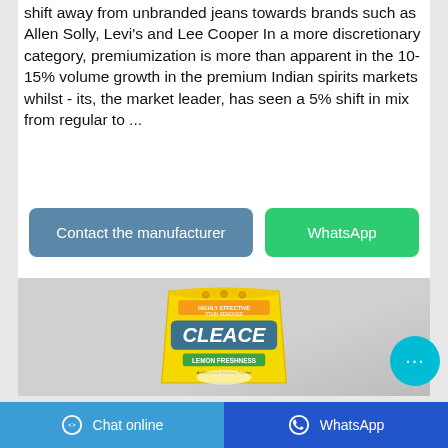shift away from unbranded jeans towards brands such as Allen Solly, Levi's and Lee Cooper In a more discretionary category, premiumization is more than apparent in the 10-15% volume growth in the premium Indian spirits markets whilst - its, the market leader, has seen a 5% shift in mix from regular to ...
[Figure (screenshot): Two call-to-action buttons: 'Contact the manufacturer' (blue-grey) and 'WhatsApp' (green)]
[Figure (photo): Product photo of Cleace Lemon Freshness Antibacterial Washing Powder in a yellow bag]
[Figure (screenshot): Floating chat bubble button (cyan) with ellipsis dots]
Chat online   WhatsApp